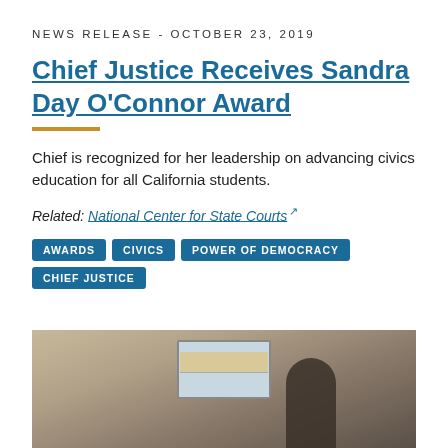NEWS RELEASE - OCTOBER 23, 2019
Chief Justice Receives Sandra Day O'Connor Award
Chief is recognized for her leadership on advancing civics education for all California students.
Related: National Center for State Courts ↗
AWARDS
CIVICS
POWER OF DEMOCRACY
CHIEF JUSTICE
[Figure (photo): Photo of person(s) in an indoor setting with a window visible in the background]